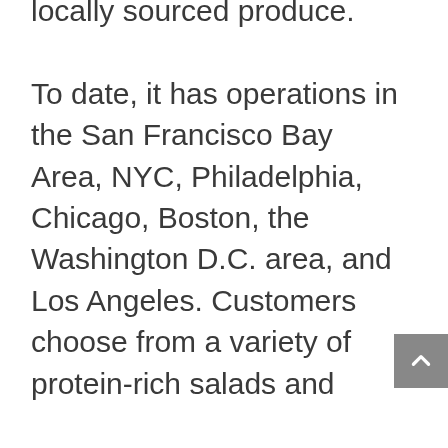locally sourced produce.

To date, it has operations in the San Francisco Bay Area, NYC, Philadelphia, Chicago, Boston, the Washington D.C. area, and Los Angeles. Customers choose from a variety of protein-rich salads and